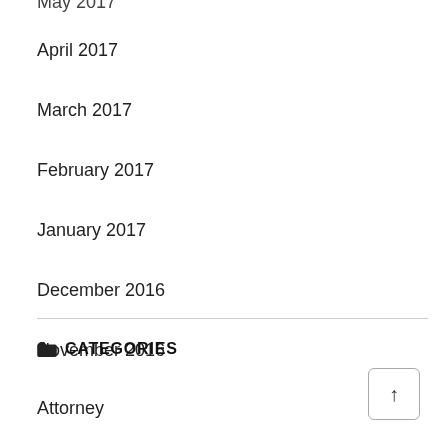May 2017
April 2017
March 2017
February 2017
January 2017
December 2016
November 2016
October 2016
CATEGORIES
Attorney